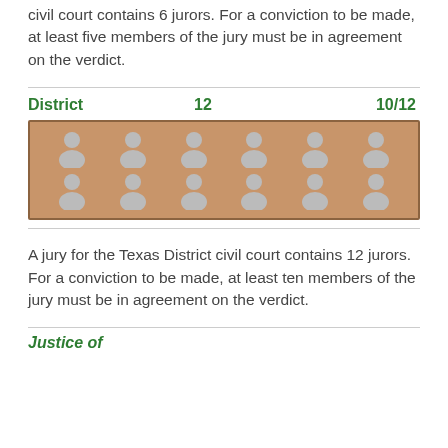civil court contains 6 jurors. For a conviction to be made, at least five members of the jury must be in agreement on the verdict.
[Figure (infographic): District court jury diagram showing 12 jurors (2 rows of 6 person icons) in a tan/brown box, with labels: District, 12, 10/12]
A jury for the Texas District civil court contains 12 jurors. For a conviction to be made, at least ten members of the jury must be in agreement on the verdict.
Justice of